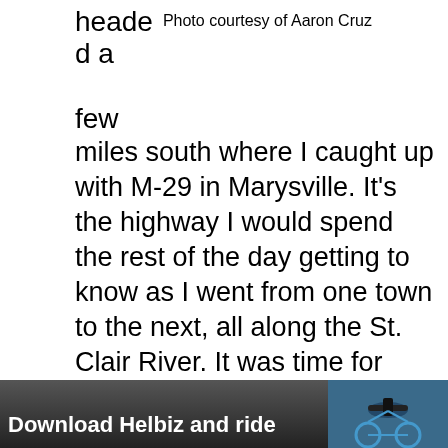headed a few miles south where I caught up with M-29 in Marysville. It’s the highway I would spend the rest of the day getting to know as I went from one town to the next, all along the St. Clair River. It was time for some more Michigan small-town fun!
Photo courtesy of Aaron Cruz
MY LATEST VIDEOS
[Figure (screenshot): Video player with black screen]
[Figure (photo): Advertisement showing a bicycle handlebar with text: Download Helbiz and ride]